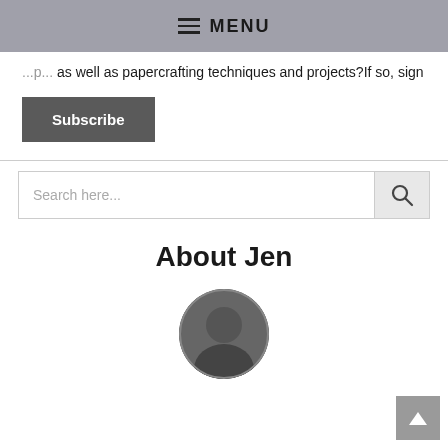MENU
as well as papercrafting techniques and projects?If so, sign
Subscribe
[Figure (other): Search input box with magnifying glass icon]
About Jen
[Figure (photo): Circular portrait photo of Jen]